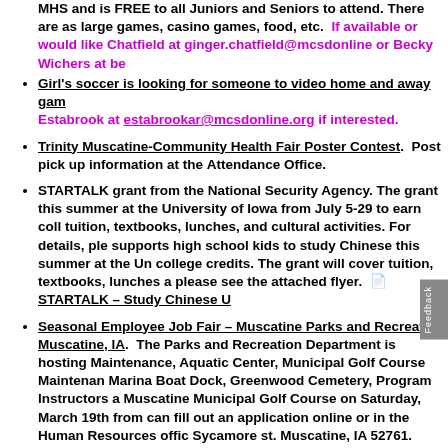MHS and is FREE to all Juniors and Seniors to attend. There are as large games, casino games, food, etc. If available or would like Chatfield at ginger.chatfield@mcsdonline or Becky Wichers at be
Girl's soccer is looking for someone to video home and away gam Estabrook at estabrookar@mcsdonline.org if interested.
Trinity Muscatine-Community Health Fair Poster Contest. Post pick up information at the Attendance Office.
STARTALK grant from the National Security Agency. The grant this summer at the University of Iowa from July 5-29 to earn coll tuition, textbooks, lunches, and cultural activities. For details, ple supports high school kids to study Chinese this summer at the Un college credits. The grant will cover tuition, textbooks, lunches a please see the attached flyer. STARTALK – Study Chinese U
Seasonal Employee Job Fair – Muscatine Parks and Recreation, Muscatine, IA. The Parks and Recreation Department is hosting Maintenance, Aquatic Center, Municipal Golf Course Maintenan Marina Boat Dock, Greenwood Cemetery, Program Instructors a Muscatine Municipal Golf Course on Saturday, March 19th from can fill out an application online or in the Human Resources offic Sycamore st. Muscatine, IA 52761. Please call (563) 264-1550 with